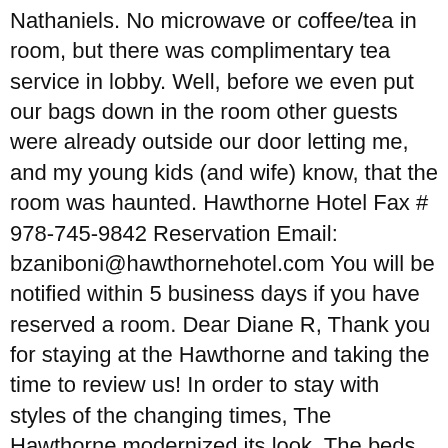Nathaniels. No microwave or coffee/tea in room, but there was complimentary tea service in lobby. Well, before we even put our bags down in the room other guests were already outside our door letting me, and my young kids (and wife) know, that the room was haunted. Hawthorne Hotel Fax # 978-745-9842 Reservation Email: bzaniboni@hawthornehotel.com You will be notified within 5 business days if you have reserved a room. Dear Diane R, Thank you for staying at the Hawthorne and taking the time to review us! In order to stay with styles of the changing times, The Hawthorne modernized its look. The beds were comfortable and the room was quaint. Please see our partners for more details. According to lore, Room 325 is the most haunted Convenient location to all things - boston, salem, new hampshire and the white mountains, and a short 1 hr drive to maine.Overall, I really liked it and will return again. BTW - we made no contact with any ghostly spirits during our stay....;). Hotel Phone # 978-744-4080 or 800-729-7829 Sign Here To This hotel is a reminder of the grandeur of